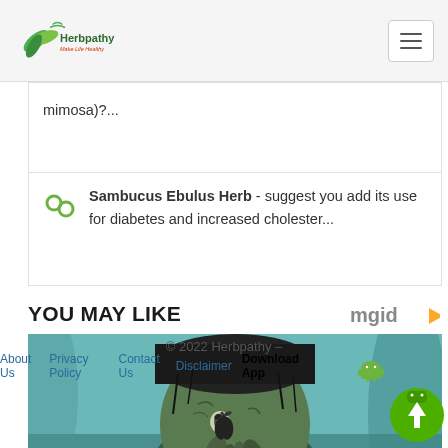Herbpathy - Make Life Healthy
mimosa)?...
Sambucus Ebulus Herb - suggest you add its use for diabetes and increased cholester...
YOU MAY LIKE
[Figure (photo): A creature resembling Davy Jones from Pirates of the Caribbean, with octopus-like facial features, wearing a dark hat, against a teal underwater background]
© 2022 Herbpathy –
About Us  Privacy Policy  Contact Us  Disclaimer  Download App
[Figure (logo): Apple logo icon]
[Figure (logo): Android robot icon]
[Figure (other): Green scroll-up button with upward arrow]